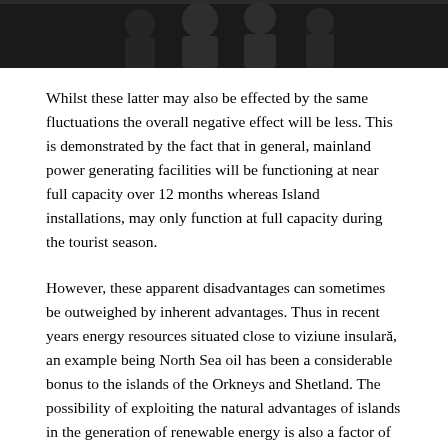[Figure (photo): Partial photograph showing people, cropped at the top of the page, dark background]
Whilst these latter may also be effected by the same fluctuations the overall negative effect will be less. This is demonstrated by the fact that in general, mainland power generating facilities will be functioning at near full capacity over 12 months whereas Island installations, may only function at full capacity during the tourist season.
However, these apparent disadvantages can sometimes be outweighed by inherent advantages. Thus in recent years energy resources situated close to viziune insulară, an example being North Sea oil has been a considerable bonus to the islands of the Orkneys and Shetland. The possibility of exploiting the natural advantages of islands in the generation of renewable energy is also a factor of